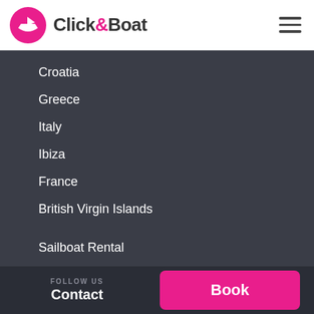Click&Boat
Croatia
Greece
Italy
Ibiza
France
British Virgin Islands
Sailboat Rental
Motorboat Rental
Catamaran Rental
RIB Rental
Yacht Rental
FOLLOW US
Contact
Book